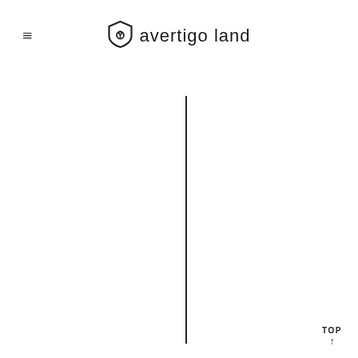≡  🛡 avertigo land
[Figure (other): Vertical black divider line running from near the top of the page to near the bottom, positioned slightly left of center]
TOP ↑